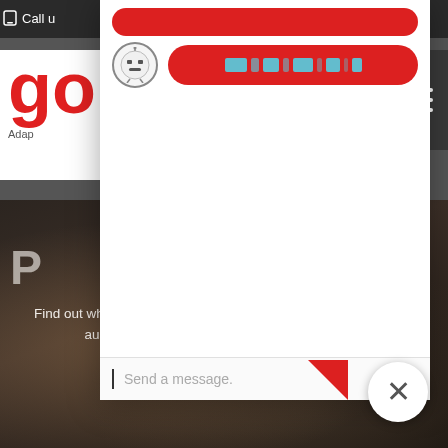[Figure (screenshot): Screenshot of a website with a chatbot overlay panel open. The background shows a translation company website with a red 'go' logo, dark navigation bar with 'Call us' text, a hamburger menu icon, and a dark photo background showing hands on a keyboard. In the foreground is a white chat panel with red buttons, a bot icon, animated loading stripes, a message input field with 'Send a message.' placeholder text, and a close (X) button. At the bottom, 'SERVICES' text is visible in gold/yellow with white body text: 'Find out why we're the most talked about Portuguese European audio and video translation company in the UK'.]